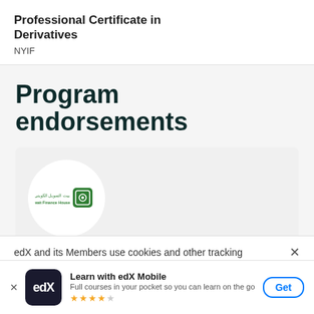Professional Certificate in Derivatives
NYIF
Program endorsements
[Figure (logo): Kuwait Finance House logo inside a white circle on a light grey card background]
edX and its Members use cookies and other tracking
Learn with edX Mobile
Full courses in your pocket so you can learn on the go
★★★★☆
Get